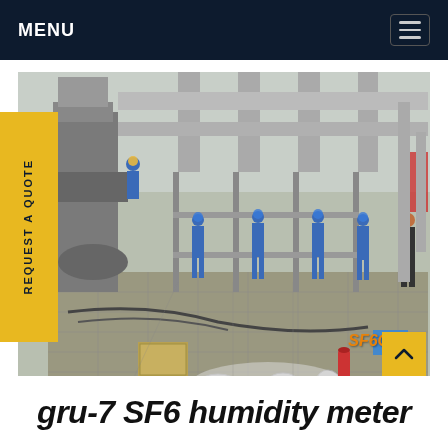MENU
[Figure (photo): Workers in blue overalls and hard hats servicing large SF6 gas-insulated switchgear at an outdoor electrical substation. Equipment, hoses, and parts are laid on the ground. One worker is elevated on the equipment. A person in dark clothes stands to the right. SF6China watermark visible at bottom right.]
gru-7 SF6 humidity meter